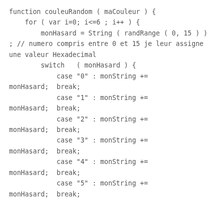function couleuRandom ( maCouleur ) {
    for ( var i=0; i<=6 ; i++ ) {
        monHasard = String ( randRange ( 0, 15 ) ) ; // numero compris entre 0 et 15 je leur assigne une valeur Hexadecimal
        switch   ( monHasard ) {
            case "0" : monString += monHasard;  break;
            case "1" : monString += monHasard;  break;
            case "2" : monString += monHasard;  break;
            case "3" : monString += monHasard;  break;
            case "4" : monString += monHasard;  break;
            case "5" : monString += monHasard;  break;